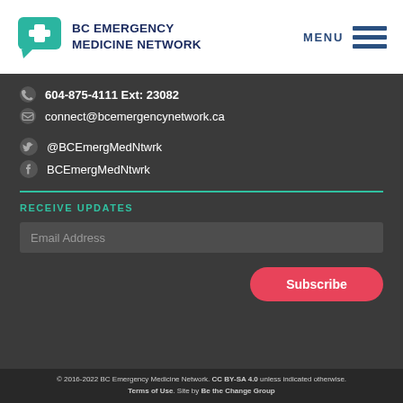[Figure (logo): BC Emergency Medicine Network logo with teal speech bubble and cross icon]
BC EMERGENCY MEDICINE NETWORK
MENU
604-875-4111 Ext: 23082
connect@bcemergencynetwork.ca
@BCEmergMedNtwrk
BCEmergMedNtwrk
RECEIVE UPDATES
Email Address
Subscribe
© 2016-2022 BC Emergency Medicine Network. CC BY-SA 4.0 unless indicated otherwise. Terms of Use. Site by Be the Change Group